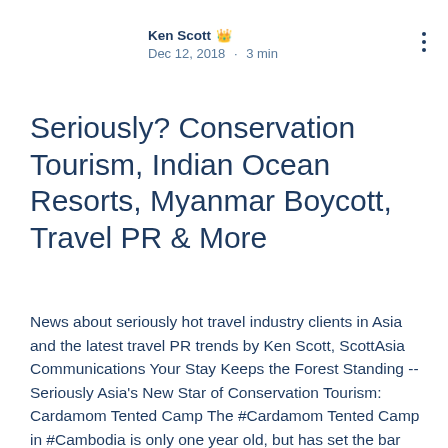Ken Scott · Dec 12, 2018 · 3 min
Seriously? Conservation Tourism, Indian Ocean Resorts, Myanmar Boycott, Travel PR & More
News about seriously hot travel industry clients in Asia and the latest travel PR trends by Ken Scott, ScottAsia Communications Your Stay Keeps the Forest Standing -- Seriously Asia's New Star of Conservation Tourism: Cardamom Tented Camp The #Cardamom Tented Camp in #Cambodia is only one year old, but has set the bar high for #conservation tourism in Southeast Asia. The camp works hand in hand with Wildlife Alliance